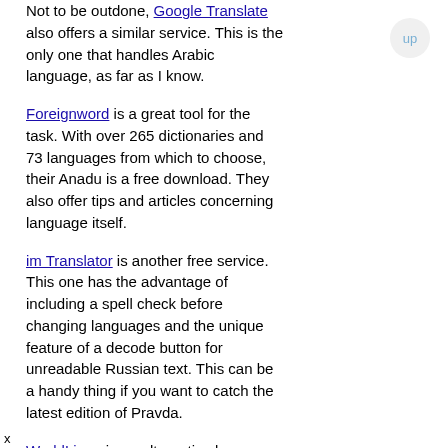Not to be outdone, Google Translate also offers a similar service. This is the only one that handles Arabic language, as far as I know.
Foreignword is a great tool for the task. With over 265 dictionaries and 73 languages from which to choose, their Anadu is a free download. They also offer tips and articles concerning language itself.
im Translator is another free service. This one has the advantage of including a spell check before changing languages and the unique feature of a decode button for unreadable Russian text. This can be a handy thing if you want to catch the latest edition of Pravda.
WorldLingo is an alternative language tool.
x